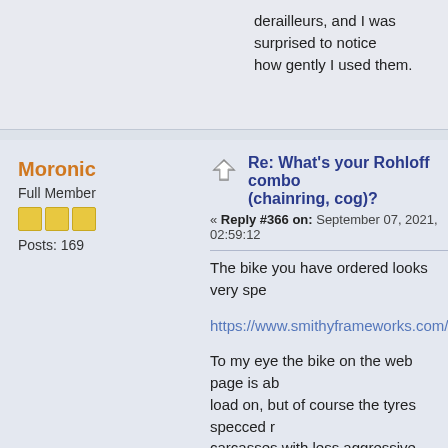derailleurs, and I was surprised to notice how gently I used them.
Moronic
Full Member
Posts: 169
Re: What's your Rohloff combo (chainring, cog)?
« Reply #366 on: September 07, 2021, 02:59:12
The bike you have ordered looks very spe
https://www.smithyframeworks.com/mule
To my eye the bike on the web page is ab load on, but of course the tyres specced r carcasses with less aggressive tread that well.
The thing about Rohloff is that you could e sprockets, so that you could have someth tracks with a load on, and whatever you li
I'm sure a link to Andy B's Rohloff diary ha formconvenience here's another. There a that make comparisons easy.